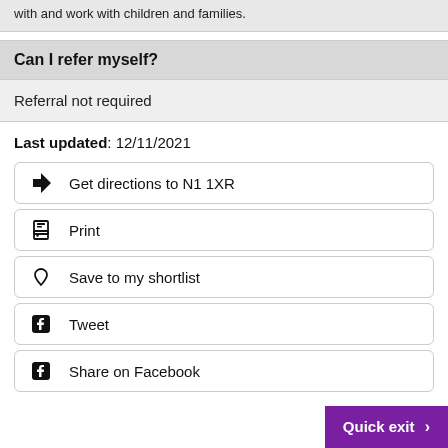with and work with children and families.
Can I refer myself?
Referral not required
Last updated: 12/11/2021
Get directions to N1 1XR
Print
Save to my shortlist
Tweet
Share on Facebook
Quick exit >